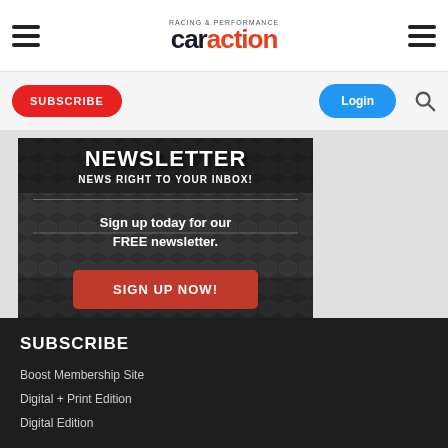Car Action — navigation header with hamburger menus and logo
SUBSCRIBE
Login
[Figure (infographic): Newsletter sign-up banner on diamond plate metal texture background with text: NEWSLETTER, NEWS RIGHT TO YOUR INBOX!, Sign up today for our FREE newsletter. and a SIGN UP NOW! button]
SUBSCRIBE
Boost Membership Site
Digital + Print Edition
Digital Edition